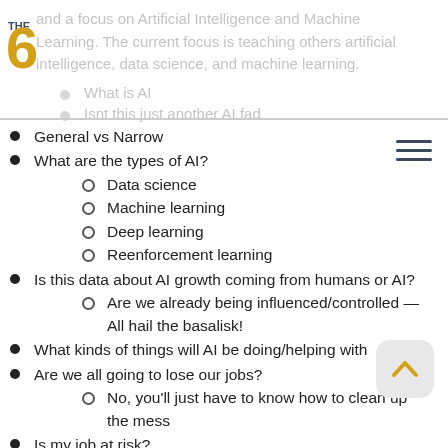and a focus on Artificial Intelligence and Machine Learning. The current focus is teaching others artificial intelligence, data science, and machine learning.
What is AI
Isnt this just another AI fad
General vs Narrow
What are the types of AI?
Data science
Machine learning
Deep learning
Reenforcement learning
Is this data about AI growth coming from humans or AI?
Are we already being influenced/controlled — All hail the basalisk!
What kinds of things will AI be doing/helping with
Are we all going to lose our jobs?
No, you'll just have to know how to clean up the mess
Is my job at risk?
AI Career path
AI Trainer
AI Developer